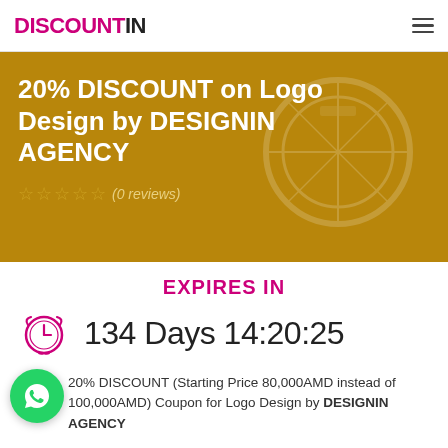DISCOUNTIN
20% DISCOUNT on Logo Design by DESIGNIN AGENCY
☆☆☆☆☆ (0 reviews)
EXPIRES IN
134 Days 14:20:25
20% DISCOUNT (Starting Price 80,000AMD instead of 100,000AMD) Coupon for Logo Design by DESIGNIN AGENCY